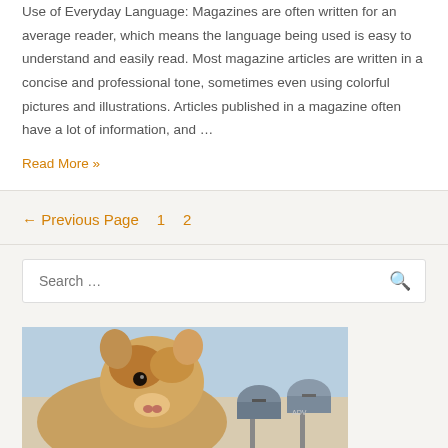Use of Everyday Language: Magazines are often written for an average reader, which means the language being used is easy to understand and easily read. Most magazine articles are written in a concise and professional tone, sometimes even using colorful pictures and illustrations. Articles published in a magazine often have a lot of information, and …
Read More »
← Previous Page   1   2
Search …
[Figure (photo): A guinea pig or small furry animal photographed next to mailboxes against a light blue sky background]